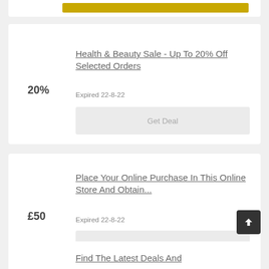[Figure (screenshot): Top partial card with yellow button bar]
Health & Beauty Sale - Up To 20% Off Selected Orders
Expired 22-8-22
20%
Get Deal
Place Your Online Purchase In This Online Store And Obtain...
Expired 22-8-22
£50
Get Deal
Find The Latest Deals And